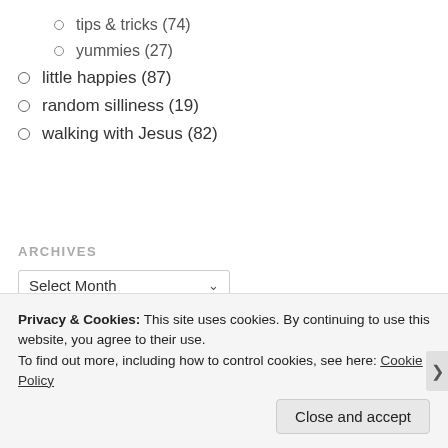tips & tricks (74)
yummies (27)
little happies (87)
random silliness (19)
walking with Jesus (82)
ARCHIVES
Select Month
Advertisements
Privacy & Cookies: This site uses cookies. By continuing to use this website, you agree to their use.
To find out more, including how to control cookies, see here: Cookie Policy
Close and accept